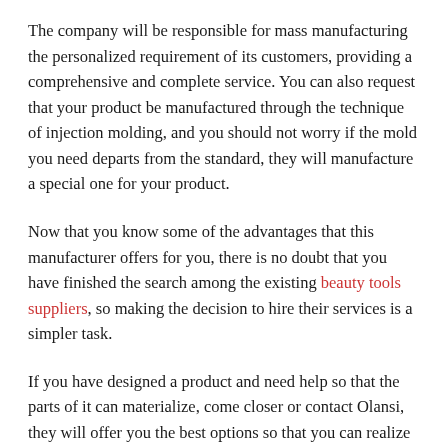The company will be responsible for mass manufacturing the personalized requirement of its customers, providing a comprehensive and complete service. You can also request that your product be manufactured through the technique of injection molding, and you should not worry if the mold you need departs from the standard, they will manufacture a special one for your product.
Now that you know some of the advantages that this manufacturer offers for you, there is no doubt that you have finished the search among the existing beauty tools suppliers, so making the decision to hire their services is a simpler task.
If you have designed a product and need help so that the parts of it can materialize, come closer or contact Olansi, they will offer you the best options so that you can realize that project you have been working on for so long. In a short time you will be distributing your products throughout the country.